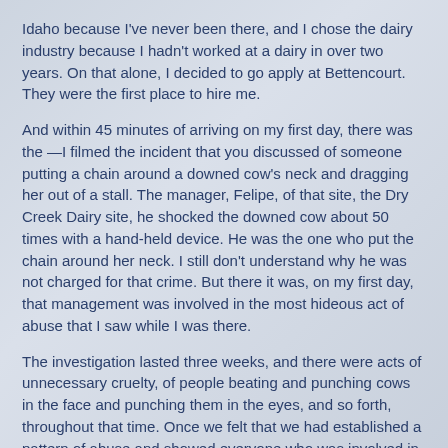Idaho because I've never been there, and I chose the dairy industry because I hadn't worked at a dairy in over two years. On that alone, I decided to go apply at Bettencourt. They were the first place to hire me.
And within 45 minutes of arriving on my first day, there was the —I filmed the incident that you discussed of someone putting a chain around a downed cow's neck and dragging her out of a stall. The manager, Felipe, of that site, the Dry Creek Dairy site, he shocked the downed cow about 50 times with a hand-held device. He was the one who put the chain around her neck. I still don't understand why he was not charged for that crime. But there it was, on my first day, that management was involved in the most hideous act of abuse that I saw while I was there.
The investigation lasted three weeks, and there were acts of unnecessary cruelty, of people beating and punching cows in the face and punching them in the eyes, and so forth, throughout that time. Once we felt that we had established a pattern of abuse and showed everyone who was involved in it, though no cow during that time had an imminent threat to their so that we felt we needed to cut the case immediately, we then went to law enforcement.